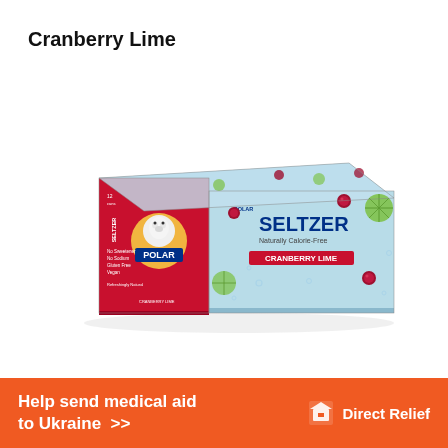Cranberry Lime
[Figure (photo): Polar Premium Seltzer Naturally Calorie-Free Cranberry Lime 12-can box, with light blue box decorated with cranberry and lime fruit graphics, red front panel with Polar polar bear logo]
Help send medical aid to Ukraine >>  Direct Relief